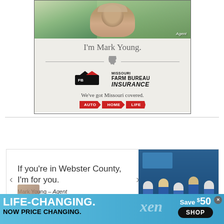[Figure (photo): Missouri Farm Bureau Insurance advertisement featuring agent Mark Young. Shows photo of man outdoors, Missouri state outline icon, Farm Bureau logo, tagline 'We've got Missouri covered.' and pills reading AUTO, HOME, LIFE.]
I'm Mark Young.
We've got Missouri covered.
AUTO  HOME  LIFE
[Figure (photo): Carousel ad showing 'If you're in Webster County, I'm for you.' with Mark Young - Agent and team photo of staff in blue uniforms standing in an office.]
If you're in Webster County, I'm for you.
Mark Young – Agent
[Figure (infographic): Bottom banner advertisement reading LIFE-CHANGING. NOW PRICE CHANGING. xen Save $50 SHOP]